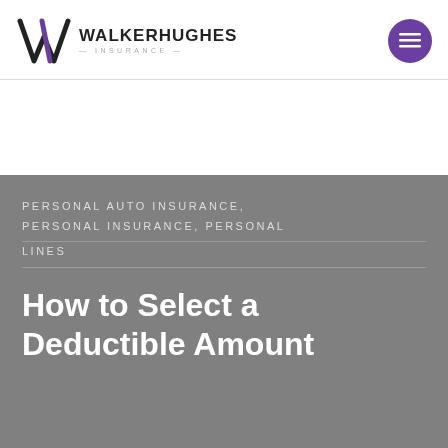Walker Hughes Insurance
PERSONAL AUTO INSURANCE, PERSONAL INSURANCE, PERSONAL LINES
How to Select a Deductible Amount